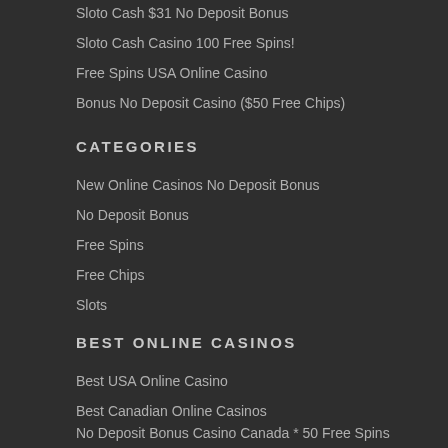Sloto Cash $31 No Deposit Bonus
Sloto Cash Casino 100 Free Spins!
Free Spins USA Online Casino
Bonus No Deposit Casino ($50 Free Chips)
CATEGORIES
New Online Casinos No Deposit Bonus
No Deposit Bonus
Free Spins
Free Chips
Slots
BEST ONLINE CASINOS
Best USA Online Casino
Best Canadian Online Casinos
No Deposit Bonus Casino Canada * 50 Free Spins
Best Australian Casinos
Online Casino New Zealand…